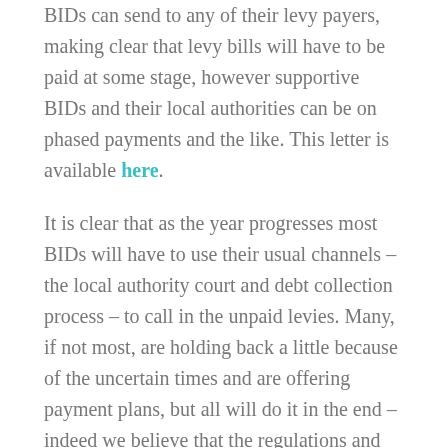BIDs can send to any of their levy payers, making clear that levy bills will have to be paid at some stage, however supportive BIDs and their local authorities can be on phased payments and the like. This letter is available here.
It is clear that as the year progresses most BIDs will have to use their usual channels – the local authority court and debt collection process – to call in the unpaid levies. Many, if not most, are holding back a little because of the uncertain times and are offering payment plans, but all will do it in the end – indeed we believe that the regulations and most operating agreements mean that they will have to be called in by the usual summons and bailiff route in the end. The anecdotal evidence is that there are a few real discounts, and a small number of local authorities